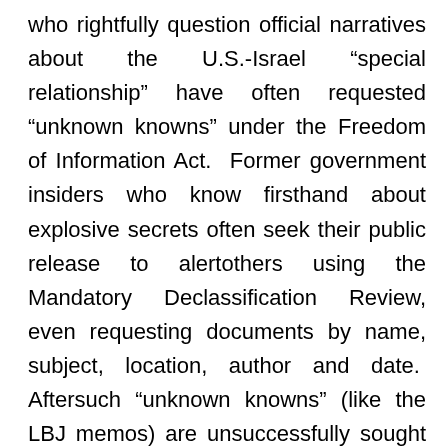who rightfully question official narratives about the U.S.-Israel “special relationship” have often requested “unknown knowns” under the Freedom of Information Act. Former government insiders who know firsthand about explosive secrets often seek their public release to alertothers using the Mandatory Declassification Review, even requesting documents by name, subject, location, author and date. Aftersuch “unknown knowns” (like the LBJ memos) are unsuccessfully sought for decades by multiple researchers, well-warrantedsuspicions arise about the reasons behind the impermeable government wall of refusal. The following ten US-Israel policy